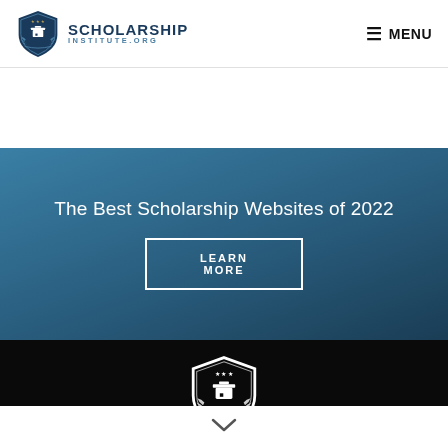SCHOLARSHIP INSTITUTE.ORG | MENU
The Best Scholarship Websites of 2022
LEARN MORE
[Figure (logo): Scholarship Institute shield logo in white on black footer background]
[Figure (other): Chevron/arrow icon at bottom of page]